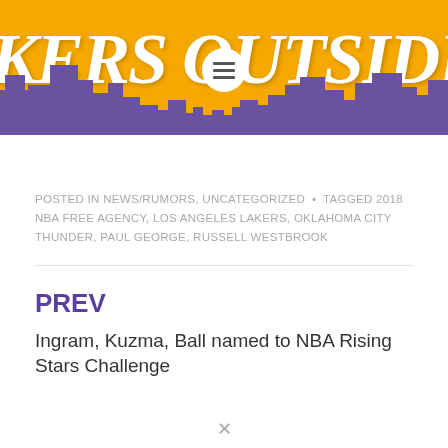[Figure (logo): Lakers Outside blog header logo with gold background, purple city skyline silhouette, white italic text 'KERS OUTSIDE' and a hamburger menu icon]
POSTED IN NEWS/RUMORS, UNCATEGORIZED  •  TAGGED 2018 NBA FREE AGENCY, LOS ANGELES LAKERS, OKLAHOMA CITY THUNDER, PAUL GEORGE, RUSSELL WESTBROOK
PREV
Ingram, Kuzma, Ball named to NBA Rising Stars Challenge